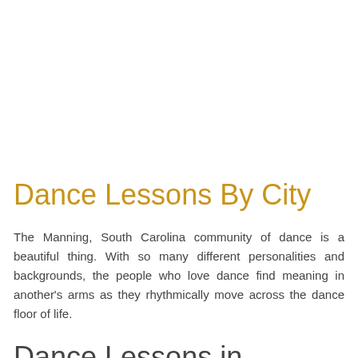Dance Lessons By City
The Manning, South Carolina community of dance is a beautiful thing. With so many different personalities and backgrounds, the people who love dance find meaning in another's arms as they rhythmically move across the dance floor of life.
Dance Lessons in Manning, South